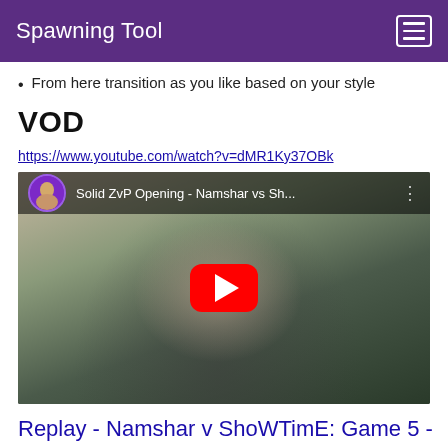Spawning Tool
From here transition as you like based on your style
VOD
https://www.youtube.com/watch?v=dMR1Ky37OBk
[Figure (screenshot): YouTube video thumbnail showing a person speaking with a microphone, with video title 'Solid ZvP Opening - Namshar vs Sh...']
Replay - Namshar v ShoWTimE: Game 5 - Honorgrounds LE